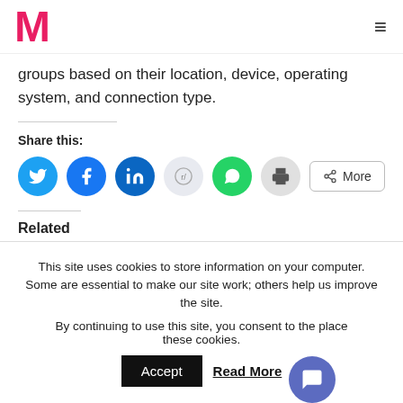M
groups based on their location, device, operating system, and connection type.
Share this:
[Figure (infographic): Row of social share buttons: Twitter (blue circle), Facebook (blue circle), LinkedIn (dark blue circle), Reddit (light grey circle), WhatsApp (green circle), Print (grey circle), and a More button with share icon.]
Related
[Figure (photo): Two related article thumbnail images partially visible at the bottom of the content area.]
This site uses cookies to store information on your computer. Some are essential to make our site work; others help us improve the site.
By continuing to use this site, you consent to the place these cookies.
Accept  Read More